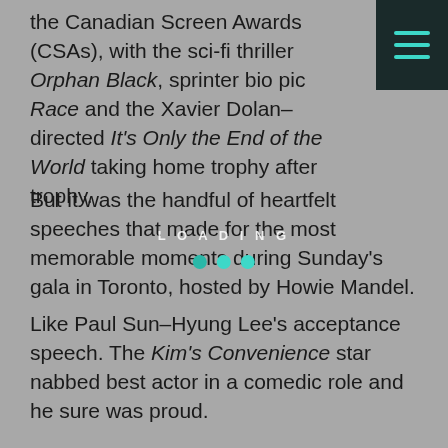the Canadian Screen Awards (CSAs), with the sci-fi thriller Orphan Black, sprinter bio pic Race and the Xavier Dolan–directed It's Only the End of the World taking home trophy after trophy.
But it was the handful of heartfelt speeches that made for the most memorable moments during Sunday's gala in Toronto, hosted by Howie Mandel.
Like Paul Sun–Hyung Lee's acceptance speech. The Kim's Convenience star nabbed best actor in a comedic role and he sure was proud.
“Yeah, I deserved,” he joked in character as Appa, the moment he got up to the mic.
He then took a big sigh, dropping Appa's accent, and